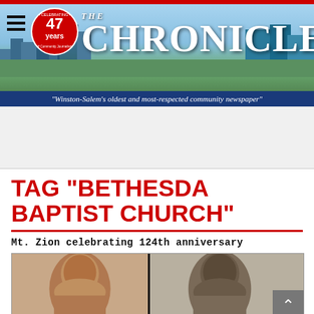[Figure (photo): The Chronicle newspaper website header banner showing city skyline background with hamburger menu icon, 47 years Celebrating Community Journalism badge, and The Chronicle masthead title]
"Winston-Salem's oldest and most-respected community newspaper"
TAG "BETHESDA BAPTIST CHURCH"
Mt. Zion celebrating 124th anniversary
[Figure (photo): Two portrait photographs of individuals, side by side, related to Mt. Zion 124th anniversary article]